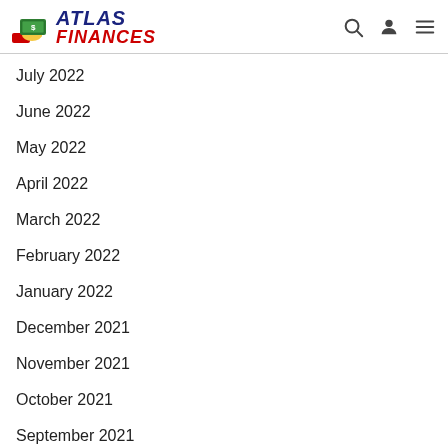Atlas Finances
July 2022
June 2022
May 2022
April 2022
March 2022
February 2022
January 2022
December 2021
November 2021
October 2021
September 2021